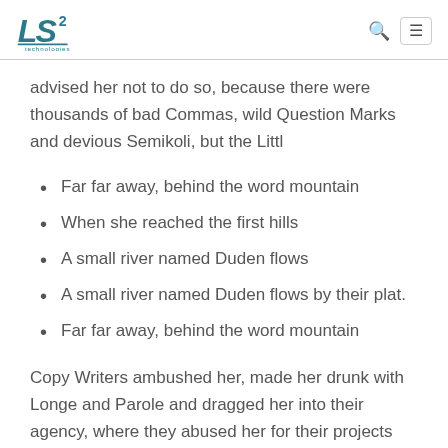LS2 Technologies logo with search and menu icons
advised her not to do so, because there were thousands of bad Commas, wild Question Marks and devious Semikoli, but the Littl
Far far away, behind the word mountain
When she reached the first hills
A small river named Duden flows
A small river named Duden flows by their plat.
Far far away, behind the word mountain
Copy Writers ambushed her, made her drunk with Longe and Parole and dragged her into their agency, where they abused her for their projects again and again. And if she